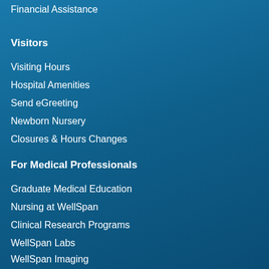Financial Assistance
Visitors
Visiting Hours
Hospital Amenities
Send eGreeting
Newborn Nursery
Closures & Hours Changes
For Medical Professionals
Graduate Medical Education
Nursing at WellSpan
Clinical Research Programs
WellSpan Labs
WellSpan Imaging
About
Who We Are
Community Benefit
WellSpan...